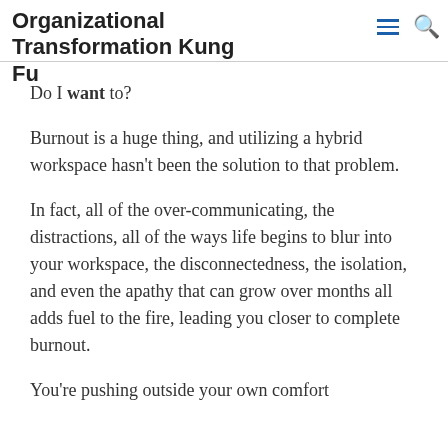Organizational Transformation Kung Fu
People feel exhausted, overworked, even to the point of hopelessness. Burnout, naturally, leads to a series of questions.
Can I keep going like this?
Do I want to?
Burnout is a huge thing, and utilizing a hybrid workspace hasn't been the solution to that problem.
In fact, all of the over-communicating, the distractions, all of the ways life begins to blur into your workspace, the disconnectedness, the isolation, and even the apathy that can grow over months all adds fuel to the fire, leading you closer to complete burnout.
You're pushing outside your own comfort